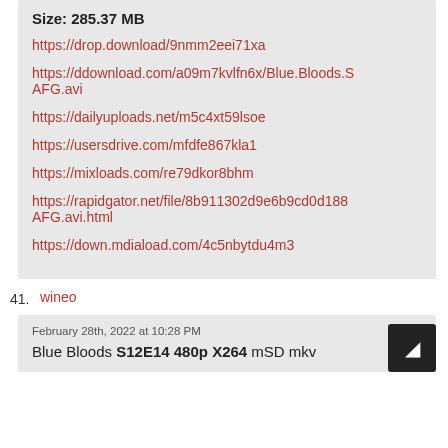Size: 285.37 MB
https://drop.download/9nmm2eei71xa
https://ddownload.com/a09m7kvlfn6x/Blue.Bloods.S AFG.avi
https://dailyuploads.net/m5c4xt59lsoe
https://usersdrive.com/mfdfe867kla1
https://mixloads.com/re79dkor8bhm
https://rapidgator.net/file/8b911302d9e6b9cd0d188 AFG.avi.html
https://down.mdiaload.com/4c5nbytdu4m3
41. wineo
February 28th, 2022 at 10:28 PM
Blue Bloods S12E14 480p X264 mSD mkv